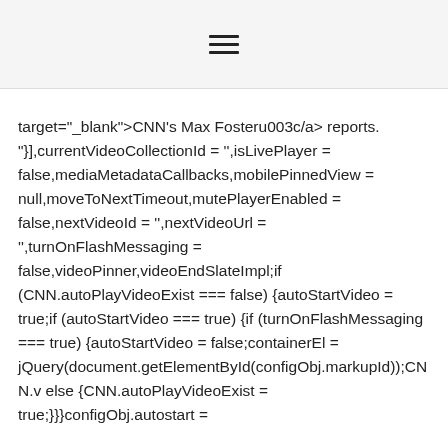≡
target="_blank">CNN's Max Fosteru003c/a> reports. "}],currentVideoCollectionId = '',isLivePlayer = false,mediaMetadataCallbacks,mobilePinnedView = null,moveToNextTimeout,mutePlayerEnabled = false,nextVideoId = '',nextVideoUrl = '',turnOnFlashMessaging = false,videoPinner,videoEndSlateImpl;if (CNN.autoPlayVideoExist === false) {autoStartVideo = true;if (autoStartVideo === true) {if (turnOnFlashMessaging === true) {autoStartVideo = false;containerEl = jQuery(document.getElementById(configObj.markupId));CNN.v else {CNN.autoPlayVideoExist = true;}}}configObj.autostart =